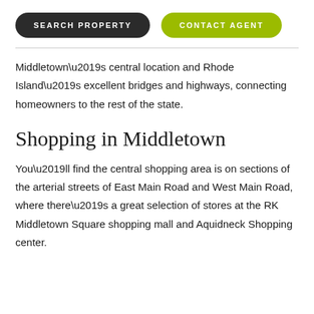SEARCH PROPERTY | CONTACT AGENT
Middletown’s central location and Rhode Island’s excellent bridges and highways, connecting homeowners to the rest of the state.
Shopping in Middletown
You’ll find the central shopping area is on sections of the arterial streets of East Main Road and West Main Road, where there’s a great selection of stores at the RK Middletown Square shopping mall and Aquidneck Shopping center.